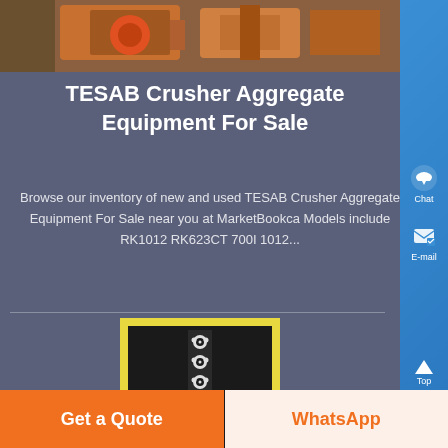[Figure (photo): Top image showing TESAB crusher aggregate equipment — orange and industrial machinery]
TESAB Crusher Aggregate Equipment For Sale
Browse our inventory of new and used TESAB Crusher Aggregate Equipment For Sale near you at MarketBookca Models include RK1012 RK623CT 700I 1012...
[Figure (photo): Product image showing a black and white lace or screen/mesh pattern on yellow background]
Get a Quote
WhatsApp